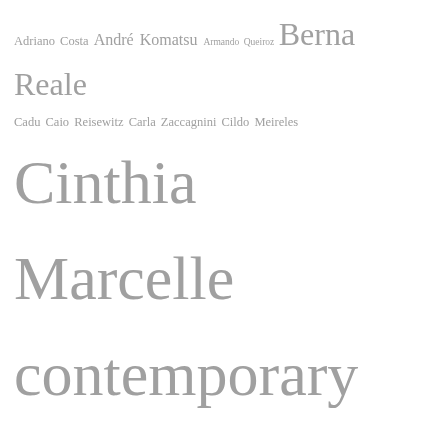Adriano Costa André Komatsu Armando Queiroz Berna Reale Cadu Caio Reisewitz Carla Zaccagnini Cildo Meireles Cinthia Marcelle contemporary art Cristiano Lenhardt Daniel Steegmann Mangrané Erika Verzutti Ernesto Neto Galeria Leme Galeria Vermelho Gustavo Speridião Jonathas de Andrade Laercio Redondo Lenora de Barros Lucia Koch Luiza Baldan Luiz Camillo Osorio Luiz Camillo Osorio MAM-Rio Marcelo Moscheta Marcius Galan Maria Laet Marilá Dardot Marina Rheingantz Matheus Rocha Pitta Matrioska Filmes Paulo Nazareth Paulo Nimer Pjota Rio de Arte Rodrigo Braga Sandra Cinto